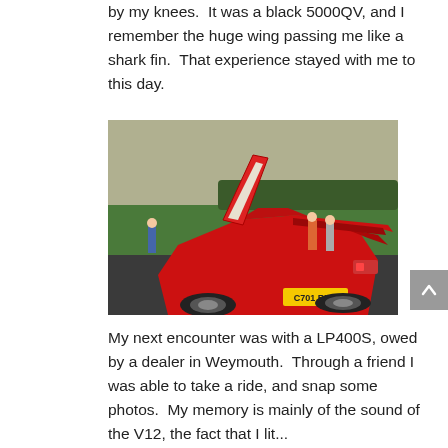by my knees.  It was a black 5000QV, and I remember the huge wing passing me like a shark fin.  That experience stayed with me to this day.
[Figure (photo): Rear three-quarter view of a red Lamborghini Countach with scissor doors open, parked on a road with green fields in the background. License plate reads C701 BYX.]
My next encounter was with a LP400S, owed by a dealer in Weymouth.  Through a friend I was able to take a ride, and snap some photos.  My memory is mainly of the sound of the V12, the fact that I literally could hear music inside the